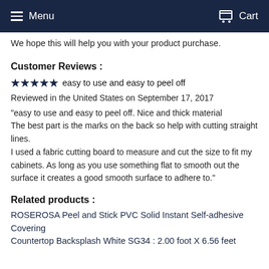Menu   Cart
We hope this will help you with your product purchase.
Customer Reviews :
★★★★★  easy to use and easy to peel off
Reviewed in the United States on September 17, 2017
"easy to use and easy to peel off. Nice and thick material
The best part is the marks on the back so help with cutting straight lines.
I used a fabric cutting board to measure and cut the size to fit my cabinets. As long as you use something flat to smooth out the surface it creates a good smooth surface to adhere to."
Related products :
ROSEROSA Peel and Stick PVC Solid Instant Self-adhesive Covering Countertop Backsplash White SG34 : 2.00 foot X 6.56 feet